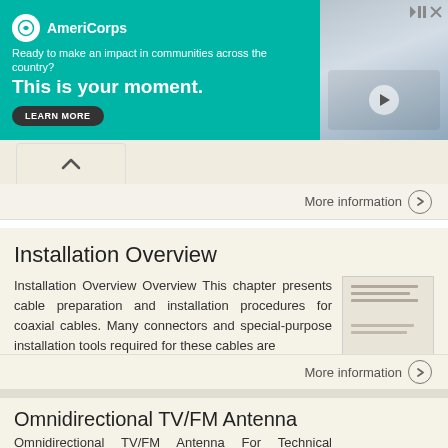[Figure (other): AmeriCorps advertisement banner. Text: 'Ready to make an impact in communities across the country? This is your moment.' with LEARN MORE button. Teal/green background with photo of person on right.]
More information →
Installation Overview
Installation Overview Overview This chapter presents cable preparation and installation procedures for coaxial cables. Many connectors and special-purpose installation tools required for these cables are
More information →
Omnidirectional TV/FM Antenna
Omnidirectional TV/FM Antenna For Technical Services, email help@winegard.com or call 1-800-788-4417.